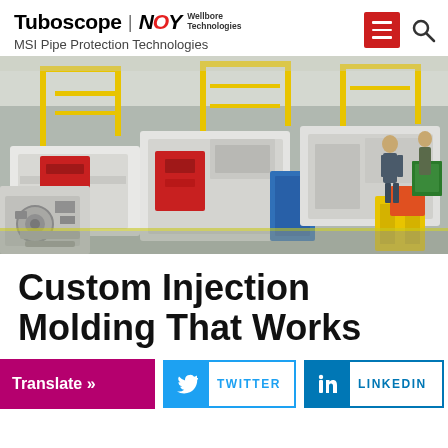Tuboscope | NOY Wellbore Technologies
MSI Pipe Protection Technologies
[Figure (photo): Industrial injection molding facility with large white and red machines, yellow support structures, and workers on the floor]
Custom Injection Molding That Works
Translate »
TWITTER
LINKEDIN